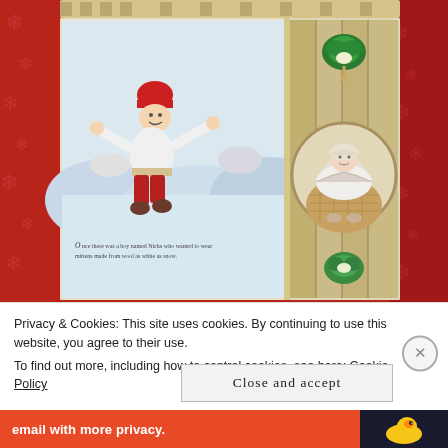[Figure (photo): A photograph of an open illustrated children's book showing a boy in a red hat leaping through a snowy scene on the left page, and an elderly woman in a basket with decorative folk-art border elements on the right page. The book is surrounded by a red snowflake-patterned background.]
Privacy & Cookies: This site uses cookies. By continuing to use this website, you agree to their use.
To find out more, including how to control cookies, see here: Cookie Policy
Close and accept
email with more privacy.